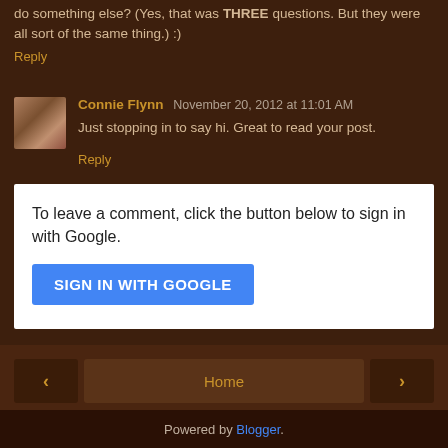do something else? (Yes, that was THREE questions. But they were all sort of the same thing.) :)
Reply
Connie Flynn  November 20, 2012 at 11:01 AM
Just stopping in to say hi. Great to read your post.
Reply
To leave a comment, click the button below to sign in with Google.
SIGN IN WITH GOOGLE
Home
View web version
Powered by Blogger.